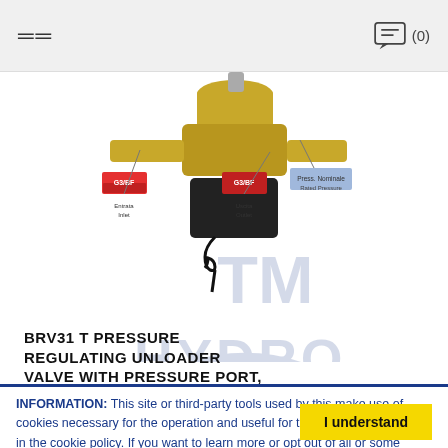≡   (0)
[Figure (photo): BRV31 T pressure regulating unloader valve product photo showing valve body with G3/BF inlet, G3/BF outlet, and rated pressure port labels, with electrical cable/microswitch and knob attachment. TM Hydro watermark visible.]
BRV31 T PRESSURE REGULATING UNLOADER VALVE WITH PRESSURE PORT, MICROSWITCH AND KNOB BLACK
INFORMATION: This site or third-party tools used by this make use of cookies necessary for the operation and useful for the purposes described in the cookie policy. If you want to learn more or opt out of all or some cookies, see the cookie policy. By closing this banner, scrolling this page, clicking on a link or continuing navigation in any other way, you consent to the use of cookie.
I understand